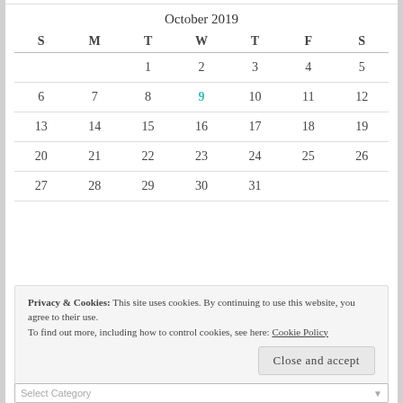October 2019
| S | M | T | W | T | F | S |
| --- | --- | --- | --- | --- | --- | --- |
|  |  | 1 | 2 | 3 | 4 | 5 |
| 6 | 7 | 8 | 9 | 10 | 11 | 12 |
| 13 | 14 | 15 | 16 | 17 | 18 | 19 |
| 20 | 21 | 22 | 23 | 24 | 25 | 26 |
| 27 | 28 | 29 | 30 | 31 |  |  |
Privacy & Cookies: This site uses cookies. By continuing to use this website, you agree to their use.
To find out more, including how to control cookies, see here: Cookie Policy
Close and accept